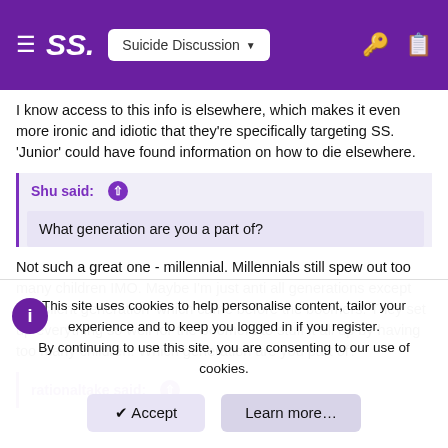SS. Suicide Discussion
I know access to this info is elsewhere, which makes it even more ironic and idiotic that they're specifically targeting SS. 'Junior' could have found information on how to die elsewhere.
Shu said: ↑
What generation are you a part of?
Not such a great one - millennial. Millennials still spew out too many children IMO. Maybe I'm just anti all generations except the 'silent generation' which came before the boomers. They set up everything so well for the boomers to stuff it all up by having too many children. Which generation are you part of?
rationaltake said: ↑
This site uses cookies to help personalise content, tailor your experience and to keep you logged in if you register. By continuing to use this site, you are consenting to our use of cookies.
✔ Accept
Learn more…